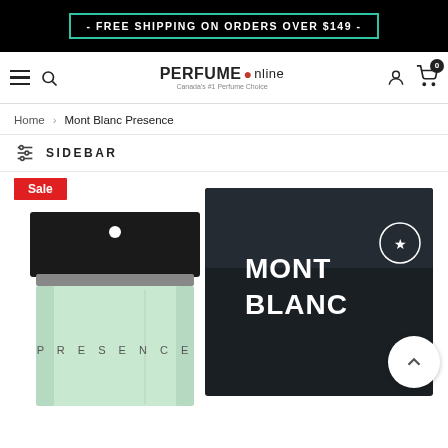- FREE SHIPPING ON ORDERS OVER $149 -
[Figure (screenshot): Perfume Online website navigation bar with hamburger menu, search icon, logo 'PERFUME Online Canada's #1 Perfume Choice', user icon, and cart icon with badge 0]
Home > Mont Blanc Presence
SIDEBAR
[Figure (photo): Mont Blanc Presence perfume bottle (light green glass, black cap with white dot, PRESENCE text) beside dark Mont Blanc branded box with MONT BLANC logo, Sale badge in red top left]